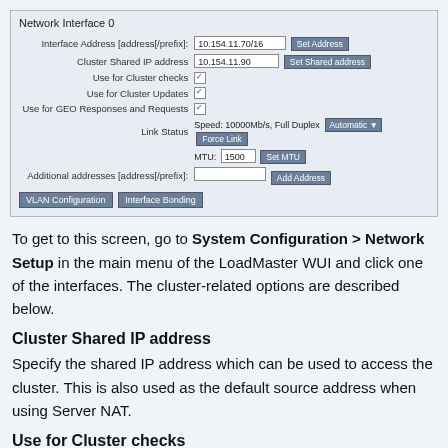[Figure (screenshot): Network Interface 0 configuration panel showing Interface Address, Cluster Shared IP address, Use for Cluster checks, Use for Cluster Updates, Use for GEO Responses and Requests, Link Status, MTU, Additional addresses fields with buttons, and VLAN Configuration / Interface Bonding buttons at bottom.]
To get to this screen, go to System Configuration > Network Setup in the main menu of the LoadMaster WUI and click one of the interfaces. The cluster-related options are described below.
Cluster Shared IP address
Specify the shared IP address which can be used to access the cluster. This is also used as the default source address when using Server NAT.
Use for Cluster checks